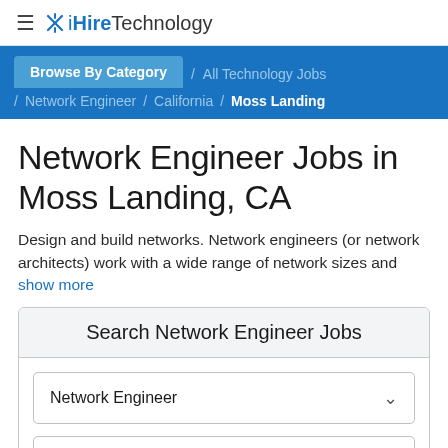≡  iHireTechnology
Browse By Category  /  All Technology Jobs  /  Network Engineer  /  California  /  Moss Landing
Network Engineer Jobs in Moss Landing, CA
Design and build networks. Network engineers (or network architects) work with a wide range of network sizes and
show more
Search Network Engineer Jobs
Network Engineer
Moss Landing, CA